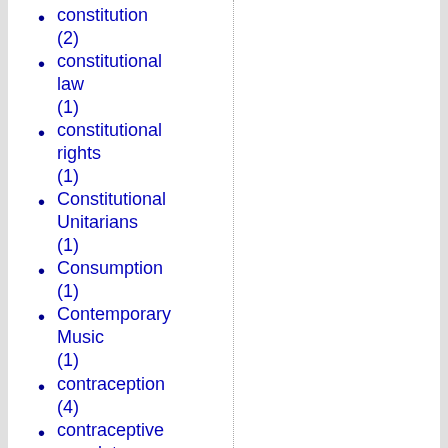constitution (2)
constitutional law (1)
constitutional rights (1)
Constitutional Unitarians (1)
Consumption (1)
Contemporary Music (1)
contraception (4)
contraceptive mandate (1)
contributors (1)
conversion (1)